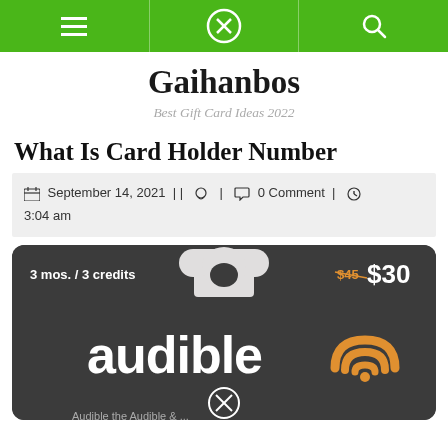Navigation bar with hamburger menu, close button, and search icon on green background
Gaihanbos
Best Gift Card Ideas 2022
What Is Card Holder Number
September 14, 2021 || [user icon] | [comment icon] 0 Comment | [clock icon] 3:04 am
[Figure (photo): Audible gift card with dark background showing '3 mos. / 3 credits' in top left, '$45 $30' price in top right (with $45 struck through), audible logo with orange wifi-like symbol in the center, and a card hanger tab at the top. A circled X watermark appears at the bottom center.]